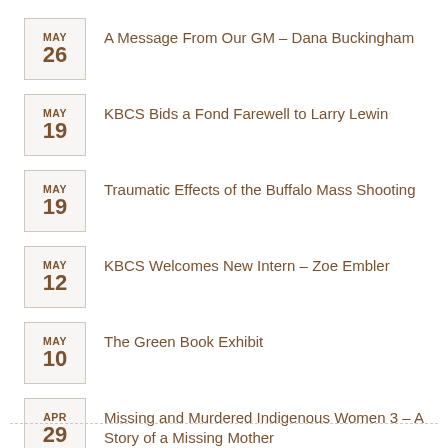MAY 26 – A Message From Our GM – Dana Buckingham
MAY 19 – KBCS Bids a Fond Farewell to Larry Lewin
MAY 19 – Traumatic Effects of the Buffalo Mass Shooting
MAY 12 – KBCS Welcomes New Intern – Zoe Embler
MAY 10 – The Green Book Exhibit
APR 29 – Missing and Murdered Indigenous Women 3 – A Story of a Missing Mother
More Posts ❯